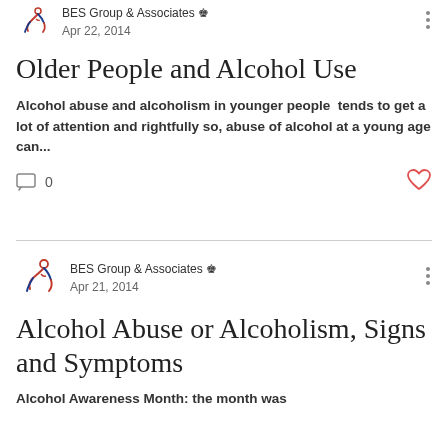[Figure (logo): BES Group & Associates logo - stylized figure in red and blue]
BES Group & Associates 👑
Apr 22, 2014
Older People and Alcohol Use
Alcohol abuse and alcoholism in younger people  tends to get a lot of attention and rightfully so, abuse of alcohol at a young age can...
0
[Figure (logo): BES Group & Associates logo - stylized figure in red and blue]
BES Group & Associates 👑
Apr 21, 2014
Alcohol Abuse or Alcoholism, Signs and Symptoms
Alcohol Awareness Month: the month was